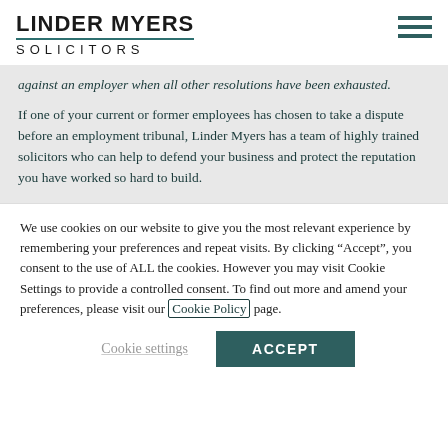LINDER MYERS SOLICITORS
against an employer when all other resolutions have been exhausted.
If one of your current or former employees has chosen to take a dispute before an employment tribunal, Linder Myers has a team of highly trained solicitors who can help to defend your business and protect the reputation you have worked so hard to build.
We use cookies on our website to give you the most relevant experience by remembering your preferences and repeat visits. By clicking “Accept”, you consent to the use of ALL the cookies. However you may visit Cookie Settings to provide a controlled consent. To find out more and amend your preferences, please visit our Cookie Policy page.
Cookie settings   ACCEPT